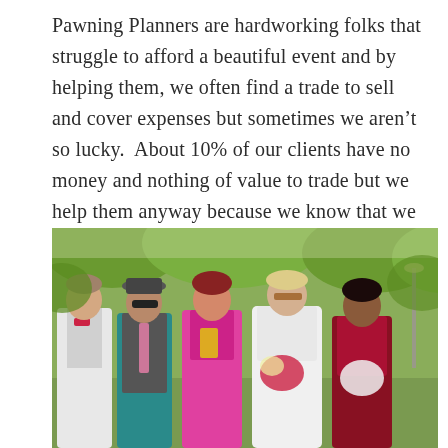Pawning Planners are hardworking folks that struggle to afford a beautiful event and by helping them, we often find a trade to sell and cover expenses but sometimes we aren't so lucky.  About 10% of our clients have no money and nothing of value to trade but we help them anyway because we know that we can.
[Figure (photo): Outdoor wedding photo showing five people standing together in a park setting with trees in the background. From left to right: a young man in a white vest and magenta bow tie, a man in a hat and teal shirt with a gray vest, a woman in the center wearing a bright magenta/fuchsia stole or sash (possibly the officiant), a woman in a white wedding dress holding a bouquet, and a woman in a dark red/maroon dress holding a bouquet.]